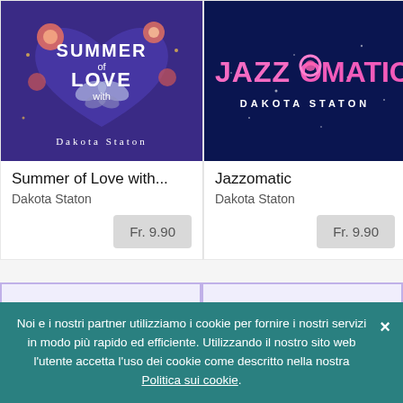[Figure (illustration): Album cover: Summer of Love with Dakota Staton - purple/blue floral heart design with butterflies and flowers]
[Figure (illustration): Album cover: Jazzomatic by Dakota Staton - dark navy background with pink/magenta glowing text]
Summer of Love with...
Dakota Staton
Fr. 9.90
Jazzomatic
Dakota Staton
Fr. 9.90
[Figure (illustration): Album cover: Music Vol. 2 - purple musical notes arc on light purple background]
[Figure (illustration): Album cover: Music Vol. 1 - purple musical notes arc on light purple background]
Noi e i nostri partner utilizziamo i cookie per fornire i nostri servizi in modo più rapido ed efficiente. Utilizzando il nostro sito web l'utente accetta l'uso dei cookie come descritto nella nostra Politica sui cookie.